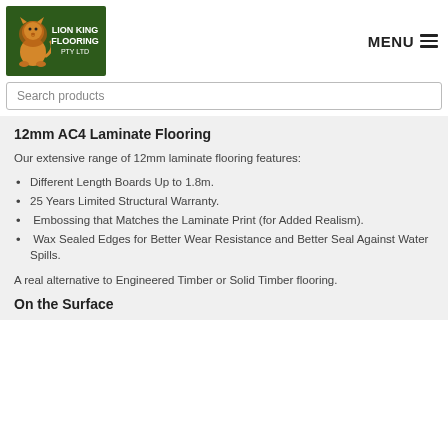Lion King Flooring PTY LTD | MENU
Search products
12mm AC4 Laminate Flooring
Our extensive range of 12mm laminate flooring features:
Different Length Boards Up to 1.8m.
25 Years Limited Structural Warranty.
Embossing that Matches the Laminate Print (for Added Realism).
Wax Sealed Edges for Better Wear Resistance and Better Seal Against Water Spills.
A real alternative to Engineered Timber or Solid Timber flooring.
On the Surface